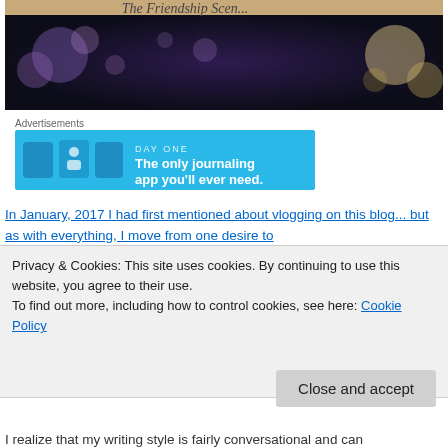[Figure (photo): Blog header image with bokeh light effects, dark purple/navy background with orange bokeh at top-left and yellow-gold bokeh at right. Partial italic cursive title text visible at top.]
Advertisements
[Figure (screenshot): Day One journaling app advertisement banner. Blue background with app icons on left and text: DAY ONE - The only journaling app you'll ever need.]
In January, 2017 I had first mentioned about vlogging on this blog... but as with everything, I move from one desire to
Privacy & Cookies: This site uses cookies. By continuing to use this website, you agree to their use.
To find out more, including how to control cookies, see here: Cookie Policy
Close and accept
I realize that my writing style is fairly conversational and can